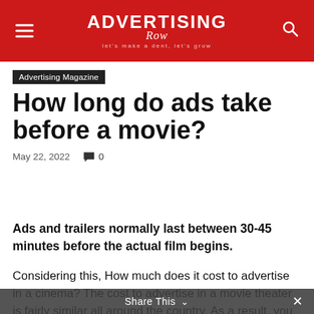ADVERTISING Row — let's make a dent, let's grow
Advertising Magazine
How long do ads take before a movie?
May 22, 2022  0
Ads and trailers normally last between 30-45 minutes before the actual film begins.
Considering this, How much does it cost to advertise in a cinema? The cost to advertise in a movie theater is fairly similar all around the country. As a result, you can expect the